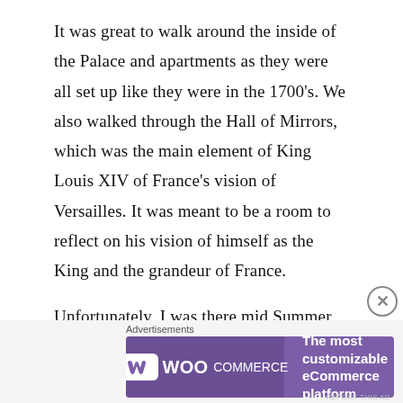It was great to walk around the inside of the Palace and apartments as they were all set up like they were in the 1700’s. We also walked through the Hall of Mirrors, which was the main element of King Louis XIV of France’s vision of Versailles. It was meant to be a room to reflect on his vision of himself as the King and the grandeur of France.
Unfortunately, I was there mid Summer and it was incredibly busy but I still think it was worth it to see such a beautiful building
[Figure (other): WooCommerce advertisement banner with purple background and text 'The most customizable eCommerce platform']